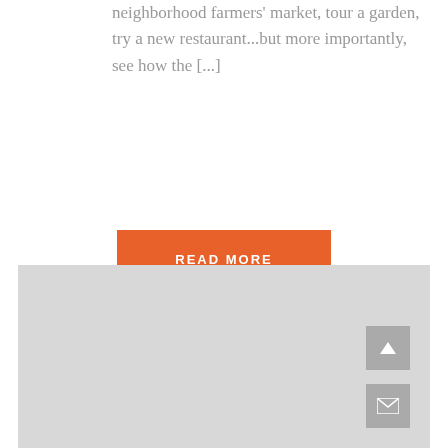neighborhood farmers' market, tour a garden, try a new restaurant...but more importantly, see how the [...]
READ MORE
[Figure (map): Light gray map area placeholder with scroll-to-top and email icon buttons on the right side]